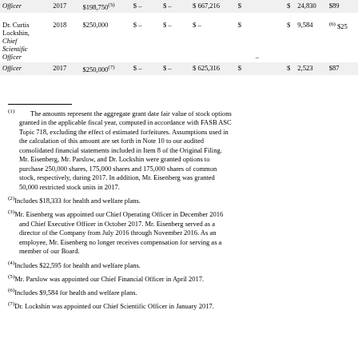| Name/Title | Year | Salary | Bonus | Stock Awards | Option Awards | Non-Equity Incentive Plan Compensation | Change in Pension Value | All Other Compensation | Total |
| --- | --- | --- | --- | --- | --- | --- | --- | --- | --- |
| Officer (cont.) | 2017 | $198,750(5) | $ – | $ – | $ 667,216 | $ |  | $ 24,830 | $89... |
| Dr. Curtis Lockshin, Chief Scientific Officer | 2018 | $250,000 | $ – | $ – | $ – | $ – |  | $ 9,584 | (6) $25... |
|  | 2017 | $250,000(7) | $ – | $ – | $ 625,316 | $ |  | $ 2,523 | $87... |
(1)The amounts represent the aggregate grant date fair value of stock options granted in the applicable fiscal year, computed in accordance with FASB ASC Topic 718, excluding the effect of estimated forfeitures. Assumptions used in the calculation of this amount are set forth in Note 10 to our audited consolidated financial statements included in Item 8 of the Original Filing. Mr. Eisenberg, Mr. Parslow, and Dr. Lockshin were granted options to purchase 250,000 shares, 175,000 shares and 175,000 shares of common stock, respectively, during 2017. In addition, Mr. Eisenberg was granted 50,000 restricted stock units in 2017.
(2)Includes $18,333 for health and welfare plans.
(3)Mr. Eisenberg was appointed our Chief Operating Officer in December 2016 and Chief Executive Officer in October 2017. Mr. Eisenberg served as a director of the Company from July 2016 through November 2016. As an employee, Mr. Eisenberg no longer receives compensation for serving as a member of our Board.
(4)Includes $22,595 for health and welfare plans.
(5)Mr. Parslow was appointed our Chief Financial Officer in April 2017.
(6)Includes $9,584 for health and welfare plans.
(7)Dr. Lockshin was appointed our Chief Scientific Officer in January 2017.